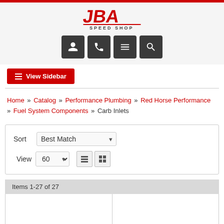[Figure (logo): JBA Speed Shop logo in red with stylized text]
[Figure (infographic): Navigation icon buttons: user/account, phone, menu, search]
≡ View Sidebar
Home » Catalog » Performance Plumbing » Red Horse Performance » Fuel System Components » Carb Inlets
Sort  Best Match ▾  View  60 ▾  [list icon] [grid icon]
Items 1-27 of 27